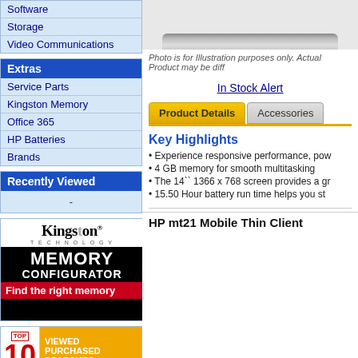Software
Storage
Video Communications
Extras
Service Parts
Kingston Memory
Office 365
HP Batteries
Brands
Recently Viewed
-
[Figure (logo): Kingston Technology Memory Configurator advertisement - black background with white text MEMORY CONFIGURATOR, red banner saying Find the right memory]
[Figure (infographic): TOP 10 VIEWED PURCHASED SEARCHES badge with red 10 on white left and gold right panel]
Testimonials
We are so thankful for Cendirect. They work hard to keep things in
[Figure (photo): Product photo of a laptop - silver/grey slim laptop shown from top angle]
Photo is for Illustration purposes only. Actual Product may be diff
In Stock Alert
Product Details | Accessories
Key Highlights
Experience responsive performance, pow
4 GB memory for smooth multitasking
The 14`` 1366 x 768 screen provides a gr
15.50 Hour battery run time helps you st
HP mt21 Mobile Thin Client